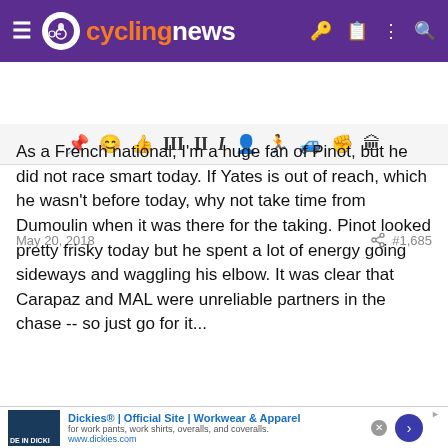cyclingnews
[Figure (screenshot): Toolbar with forum post action icons]
May 20, 2018   #1,685
As a French national, I'm a huge fan of Pinot, but he did not race smart today. If Yates is out of reach, which he wasn't before today, why not take time from Dumoulin when it was there for the taking. Pinot looked pretty frisky today but he spent a lot of energy going sideways and waggling his elbow. It was clear that Carapaz and MAL were unreliable partners in the chase -- so just go for it...
skippo12  May 14, 2017  1,138  632  7,680
[Figure (screenshot): Partial toolbar row cut off at bottom]
[Figure (screenshot): Dickies advertisement banner: Dickies® | Official Site | Workwear & Apparel, for work pants, work shirts, overalls, and coveralls. www.dickies.com]